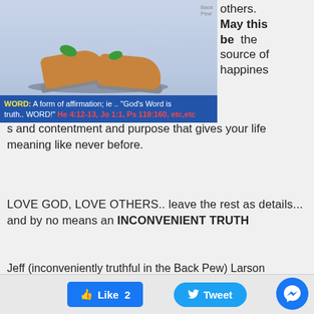[Figure (illustration): Cartoon illustration showing feet/shoes with leaves, with a blue caption bar at the bottom reading: WORD: A form of affirmation; ie .. "God's Word is truth.. WORD!" He 4:12-13, Jo 1:1, Ps 119:160, etc, etc]
others. May this be the source of happines s and contentment and purpose that gives your life meaning like never before.
LOVE GOD, LOVE OTHERS.. leave the rest as details... and by no means an INCONVENIENT TRUTH
Jeff (inconveniently truthful in the Back Pew) Larson